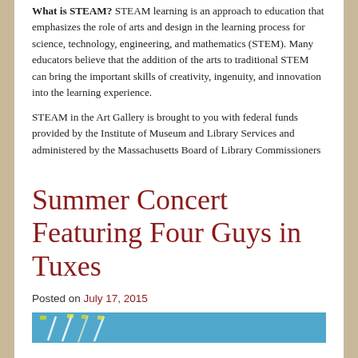What is STEAM? STEAM learning is an approach to education that emphasizes the role of arts and design in the learning process for science, technology, engineering, and mathematics (STEM). Many educators believe that the addition of the arts to traditional STEM can bring the important skills of creativity, ingenuity, and innovation into the learning experience.
STEAM in the Art Gallery is brought to you with federal funds provided by the Institute of Museum and Library Services and administered by the Massachusetts Board of Library Commissioners
Summer Concert Featuring Four Guys in Tuxes
Posted on July 17, 2015
[Figure (photo): Partial view of a photo showing what appears to be musical instruments or related items on a blue background, cropped at the bottom of the page.]